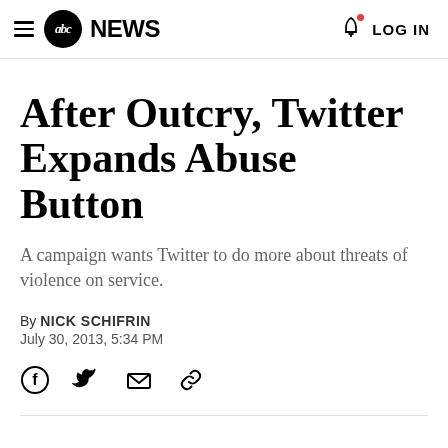abc NEWS  LOG IN
After Outcry, Twitter Expands Abuse Button
A campaign wants Twitter to do more about threats of violence on service.
By NICK SCHIFRIN
July 30, 2013, 5:34 PM